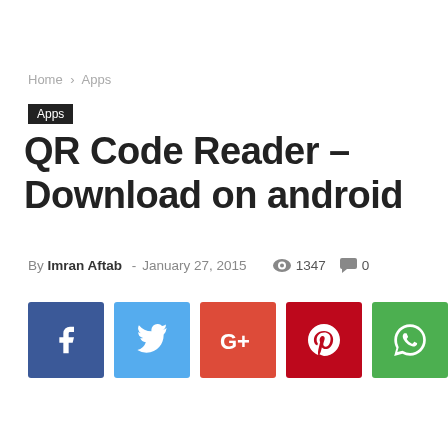Home › Apps
Apps
QR Code Reader – Download on android
By Imran Aftab - January 27, 2015  👁 1347  💬 0
[Figure (infographic): Social sharing buttons: Facebook (blue), Twitter (light blue), Google+ (red-orange), Pinterest (dark red), WhatsApp (green)]